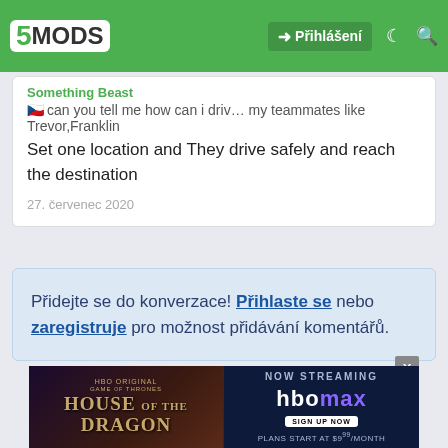5MODS — Přihlášení
Something Beast
can you tell me how can i drive my teammates like Trevor,Franklin
Set one location and They drive safely and reach the destination
27. červenec 2020
Přidejte se do konverzace! Přihlaste se nebo zaregistruje pro možnost přidávání komentářů.
[Figure (screenshot): House of the Dragon HBO Max advertisement banner at the bottom of the page with close button X]